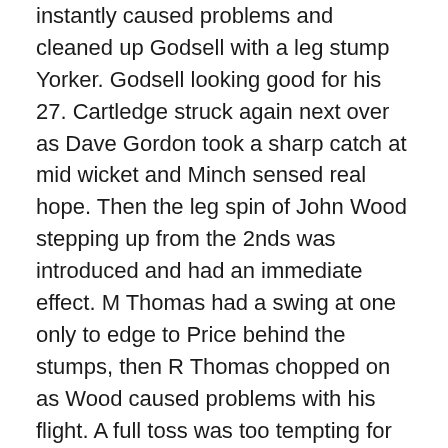instantly caused problems and cleaned up Godsell with a leg stump Yorker. Godsell looking good for his 27. Cartledge struck again next over as Dave Gordon took a sharp catch at mid wicket and Minch sensed real hope. Then the leg spin of John Wood stepping up from the 2nds was introduced and had an immediate effect. M Thomas had a swing at one only to edge to Price behind the stumps, then R Thomas chopped on as Wood caused problems with his flight. A full toss was too tempting for Newman who skied his shot out to long on. Jaime Waring raced around the boundary to pluck the ball out of the air and give Wood his 3rd wicket as Charfield were 100 for 9 and Minch on the verge of a remarkable victory. But much like the Minch innings a vital last wicket partnership ensued for Charfield, Nash leading the way with 23 patient runs and Walwin scrambling runs to get Charfield home